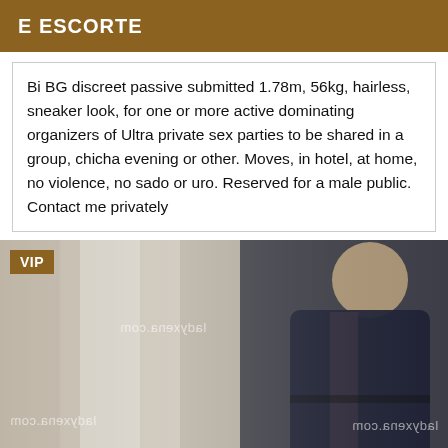E ESCORTE
Bi BG discreet passive submitted 1.78m, 56kg, hairless, sneaker look, for one or more active dominating organizers of Ultra private sex parties to be shared in a group, chicha evening or other. Moves, in hotel, at home, no violence, no sado or uro. Reserved for a male public. Contact me privately
[Figure (photo): Photo of a person in a dark blue/navy outfit, with VIP badge overlay and ladyxena.com watermarks mirrored on the image]